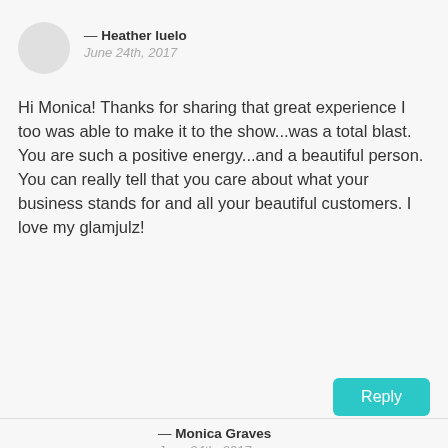— Heather luelo
June 24th, 2017
Hi Monica! Thanks for sharing that great experience I too was able to make it to the show...was a total blast. You are such a positive energy...and a beautiful person. You can really tell that you care about what your business stands for and all your beautiful customers. I love my glamjulz!
Reply
— Monica Graves
June 24th, 2017
Heather!! Thank you so much! You look stunning in glamjulz and I'm sooooo happy we were able to enjoy the concert together! Ha ha! XO